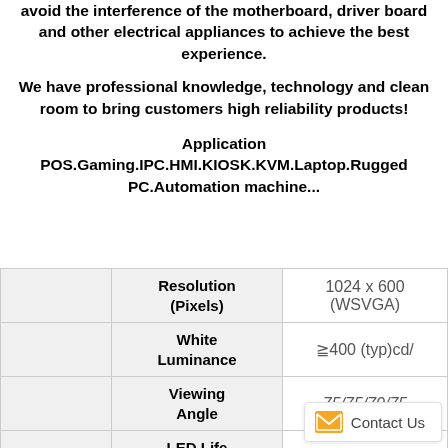avoid the interference of the motherboard, driver board and other electrical appliances to achieve the best experience.
We have professional knowledge, technology and clean room to bring customers high reliability products!
Application
POS.Gaming.IPC.HMI.KIOSK.KVM.Laptop.Rugged PC.Automation machine...
|  | Resolution (Pixels) | 1024 x 600 (WSVGA) |
| --- | --- | --- |
|  | White Luminance | ≧400 (typ)cd/ |
|  | Viewing Angle | 75/75/70/75 |
|  | LED Life Time(Hrs) |  |
|  | Interface | LVDS |